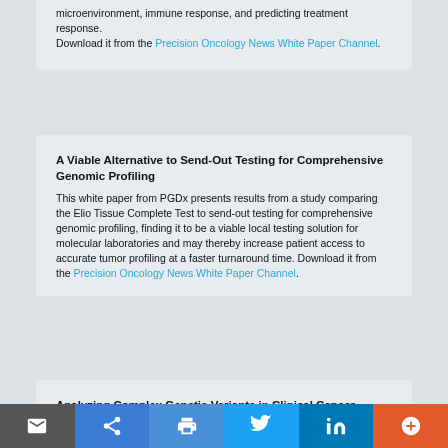microenvironment, immune response, and predicting treatment response. Download it from the Precision Oncology News White Paper Channel.
A Viable Alternative to Send-Out Testing for Comprehensive Genomic Profiling
This white paper from PGDx presents results from a study comparing the Elio Tissue Complete Test to send-out testing for comprehensive genomic profiling, finding it to be a viable local testing solution for molecular laboratories and may thereby increase patient access to accurate tumor profiling at a faster turnaround time. Download it from the Precision Oncology News White Paper Channel.
Analyzing Complex Genetic Variants in Clinical Cancer